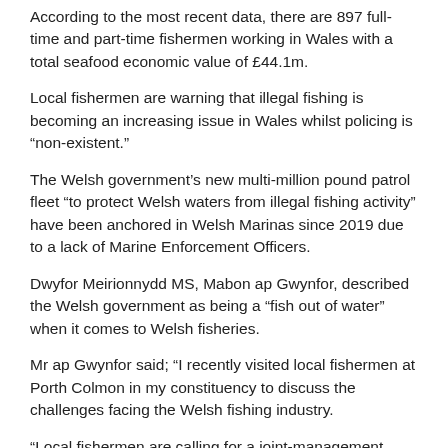According to the most recent data, there are 897 full-time and part-time fishermen working in Wales with a total seafood economic value of £44.1m.
Local fishermen are warning that illegal fishing is becoming an increasing issue in Wales whilst policing is “non-existent.”
The Welsh government’s new multi-million pound patrol fleet “to protect Welsh waters from illegal fishing activity” have been anchored in Welsh Marinas since 2019 due to a lack of Marine Enforcement Officers.
Dwyfor Meirionnydd MS, Mabon ap Gwynfor, described the Welsh government as being a “fish out of water” when it comes to Welsh fisheries.
Mr ap Gwynfor said; “I recently visited local fishermen at Porth Colmon in my constituency to discuss the challenges facing the Welsh fishing industry.
“Local fishermen are calling for a joint-management approach to fishing in Wales to allow for sustainability and conservation of the seas. Whilst we were out at